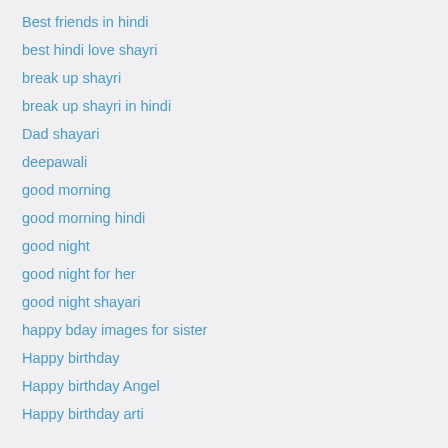Best friends in hindi
best hindi love shayri
break up shayri
break up shayri in hindi
Dad shayari
deepawali
good morning
good morning hindi
good night
good night for her
good night shayari
happy bday images for sister
Happy birthday
Happy birthday Angel
Happy birthday arti